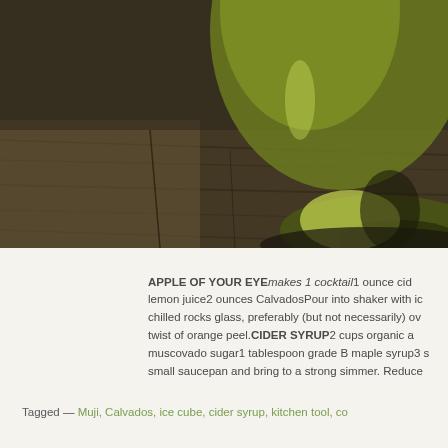[Figure (photo): Close-up photo of the bottom of a green glass bottle or jar sitting on a dark wooden surface. The glass has a yellow-green tint and the wooden surface shows grain and texture.]
APPLE OF YOUR EYEmakes 1 cocktail1 ounce cider lemon juice2 ounces CalvadosPour into shaker with ice, chilled rocks glass, preferably (but not necessarily) over twist of orange peel.CIDER SYRUP2 cups organic apple muscovado sugar1 tablespoon grade B maple syrup3 s small saucepan and bring to a strong simmer. Reduce
Tagged — Muji, Calvados, ice cube, cider syrup, kitchen tool, co